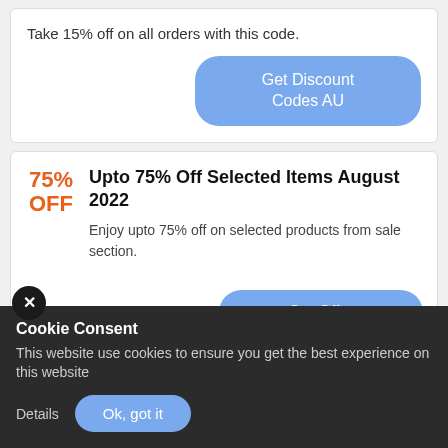Take 15% off on all orders with this code.
Get Discount Codes AU
75% OFF
Upto 75% Off Selected Items August 2022
Enjoy upto 75% off on selected products from sale section.
Get Offer
Cookie Consent
This website use cookies to ensure you get the best experience on this website
Details
Ok, got it
SHIPPING
ing Within Australia